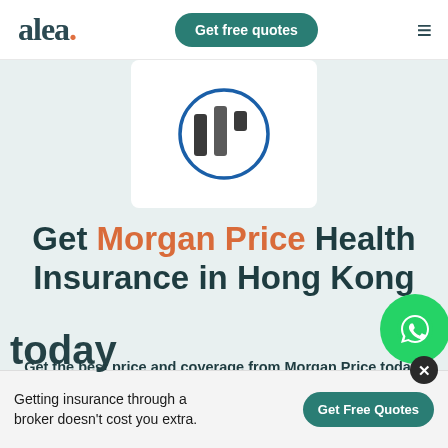alea. | Get free quotes
[Figure (logo): Morgan Price insurance logo — three dark vertical bars with a teal/blue circle outline on white card background]
Get Morgan Price Health Insurance in Hong Kong
Get the best price and coverage from Morgan Price today!
[Figure (illustration): WhatsApp green circular button icon]
Getting insurance through a broker doesn't cost you extra.
Get Free Quotes
today